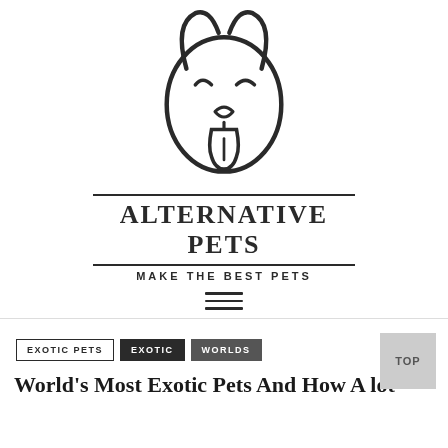[Figure (logo): Minimalist line-art dog face logo — oval head, two pointed ears at top, two curved eyebrows, small triangular nose, mouth line, and protruding rounded tongue with a vertical line]
ALTERNATIVE PETS
MAKE THE BEST PETS
[Figure (other): Hamburger menu icon — three horizontal lines]
TOP
EXOTIC PETS
EXOTIC
WORLDS
World's Most Exotic Pets And How A lot